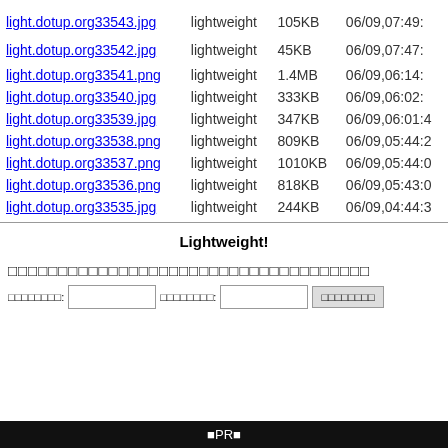| Filename | Type | Size | Date |
| --- | --- | --- | --- |
| light.dotup.org33543.jpg | lightweight | 105KB | 06/09,07:49: |
| light.dotup.org33542.jpg | lightweight | 45KB | 06/09,07:47: |
| light.dotup.org33541.png | lightweight | 1.4MB | 06/09,06:14: |
| light.dotup.org33540.jpg | lightweight | 333KB | 06/09,06:02: |
| light.dotup.org33539.jpg | lightweight | 347KB | 06/09,06:01:4 |
| light.dotup.org33538.png | lightweight | 809KB | 06/09,05:44:2 |
| light.dotup.org33537.png | lightweight | 1010KB | 06/09,05:44:0 |
| light.dotup.org33536.png | lightweight | 818KB | 06/09,05:43:0 |
| light.dotup.org33535.jpg | lightweight | 244KB | 06/09,04:44:3 |
Lightweight!
アップロードフォーム（日本語ファイル名対応）
ファイル名: [input] パスワード: [input] [アップロード]
■PR■